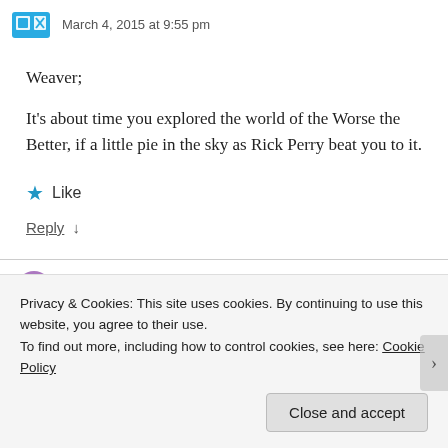March 4, 2015 at 9:55 pm
Weaver;
It's about time you explored the world of the Worse the Better, if a little pie in the sky as Rick Perry beat you to it.
★ Like
Reply ↓
Privacy & Cookies: This site uses cookies. By continuing to use this website, you agree to their use.
To find out more, including how to control cookies, see here: Cookie Policy
Close and accept